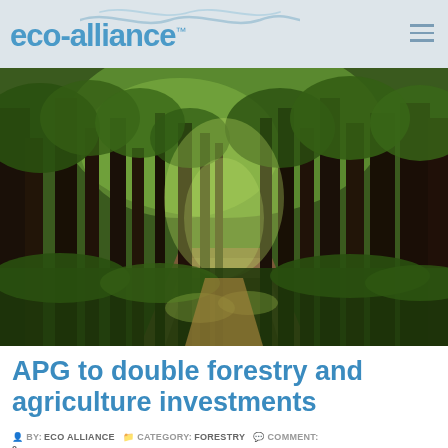eco-alliance
[Figure (photo): Forest path scene with tall trees, dappled sunlight, and green undergrowth]
APG to double forestry and agriculture investments
BY: ECO ALLIANCE   CATEGORY: FORESTRY   COMMENT: 0